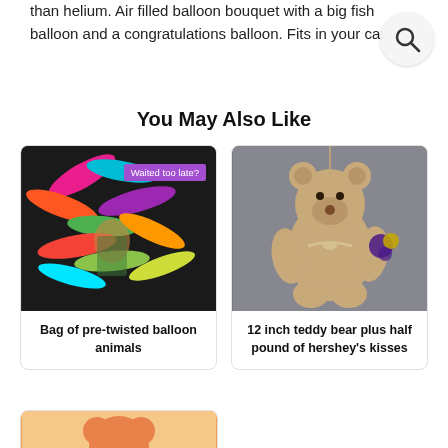than helium. Air filled balloon bouquet with a big fish balloon and a congratulations balloon. Fits in your car.
[Figure (other): Search icon button (magnifying glass) in a circular grey button]
You May Also Like
[Figure (photo): Colorful twisted balloon animals being held by a child in a green jacket against a dark background, with a purple tag overlay reading 'Waited too late?']
Bag of pre-twisted balloon animals
[Figure (photo): A tan/beige 12 inch teddy bear sitting on a grey surface, holding a purple and gold pom-pom decoration with a ribbon bow on its chest]
12 inch teddy bear plus half pound of hershey's kisses
[Figure (photo): Partial view of a third product card at the bottom of the page, showing what appears to be an orange/red food or toy item]